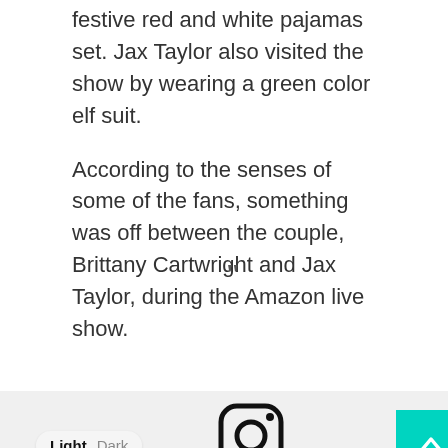festive red and white pajamas set. Jax Taylor also visited the show by wearing a green color elf suit.
According to the senses of some of the fans, something was off between the couple, Brittany Cartwright and Jax Taylor, during the Amazon live show.
[Figure (screenshot): A social media post card with a blurred/placeholder avatar and name lines, partially visible. Below is a theme toggle (Light/Dark) and a scroll-to-top button (teal). An Instagram icon is partially visible at the bottom.]